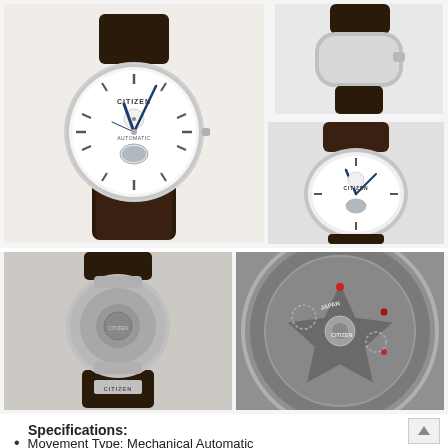[Figure (photo): Large front-facing photo of Citizen mechanical automatic watch with white dial, open heart complication, blue hands, and dark brown leather strap]
[Figure (photo): Close-up side/crown view of Citizen watch showing silver case and leather strap]
[Figure (photo): Three-quarter angle view of Citizen watch showing dial and leather strap]
[Figure (photo): Rear view of Citizen watch showing case back and leather strap with CITIZEN clasp]
[Figure (photo): Close-up macro photo of Citizen watch movement showing rotor, jewels and JAPAN/CITIZEN markings]
Specifications:
Movement Type: Mechanical Automatic
Caliber Number: 4197